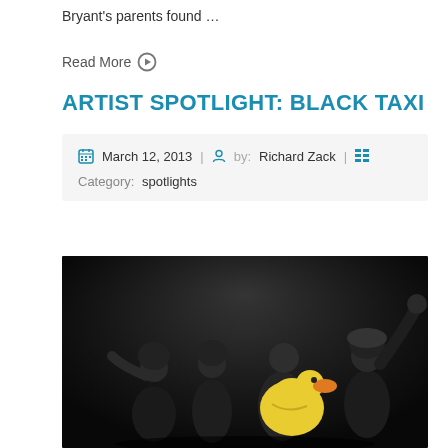Bryant's parents found …
Read More ⊕
ARTIST SPOTLIGHT: BLACK TAXI
March 12, 2013 | by: Richard Zack |
Category: spotlights
[Figure (photo): Black and white photo of four band members posing with a large inflatable rubber duck against a dark background]